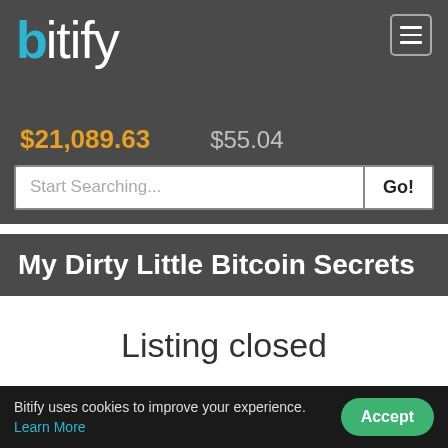bitify
$21,089.63   $55.04
Start Searching...   Go!
My Dirty Little Bitcoin Secrets
Listing closed
Item ID   #4708768
Bitify uses cookies to improve your experience. Learn More   Accept